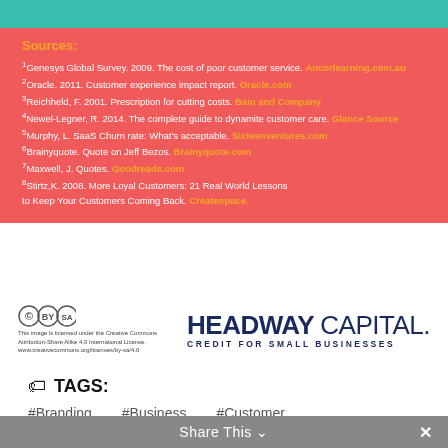Sources:
1Genesys Global Survey. 2009. The cost of poor customer service. Ancorlearning.com.au
2Oracle. 2011. Customer experience impact report. Oracle.com
3Reichheld, F. 2001. Prescription for cutting costs. Bain and Company
4Newel-Legner, R. 2014. The complete guide to dynamite customer care. Glance Source
5Murphy, L. SaaS Churn rate: What's acceptable. Sixteenventures.com
6Brainyquote. Quote on Jeff Bezos. Brainyquote.com
7Maxwell, J. Quotes. Goodreads.com
8Stirtz, K. 2008. More Loyal Customers: 21 Real World Lessons to Keep Your Customers Coming Back. Createspace.
[Figure (logo): Creative Commons license icons with attribution text and Headway Capital logo with tagline CREDIT FOR SMALL BUSINESSES]
TAGS:
#Branding
#Business
#Customer
#Customer-Experience
#Customer-Service
Share This ×